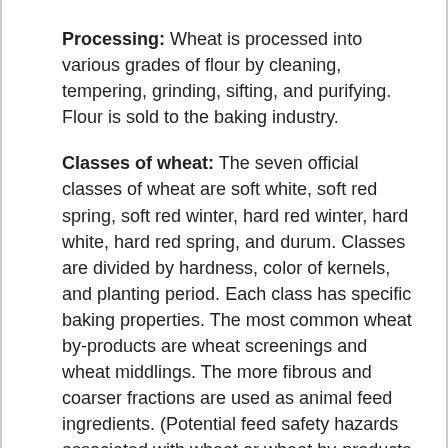Processing: Wheat is processed into various grades of flour by cleaning, tempering, grinding, sifting, and purifying. Flour is sold to the baking industry.
Classes of wheat: The seven official classes of wheat are soft white, soft red spring, soft red winter, hard red winter, hard white, hard red spring, and durum. Classes are divided by hardness, color of kernels, and planting period. Each class has specific baking properties. The most common wheat by-products are wheat screenings and wheat middlings. The more fibrous and coarser fractions are used as animal feed ingredients. (Potential feed safety hazards associated with wheat or wheat by-products include non grain material, pesticides, chlorine, and vomitoxin.)